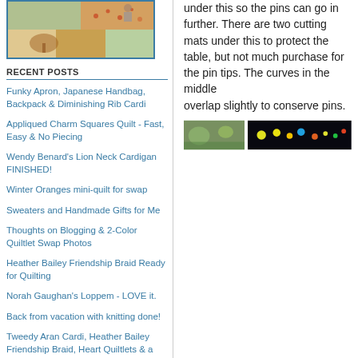[Figure (photo): Collage photo with quilting/craft images, framed in teal border]
RECENT POSTS
Funky Apron, Japanese Handbag, Backpack & Diminishing Rib Cardi
Appliqued Charm Squares Quilt - Fast, Easy & No Piecing
Wendy Benard's Lion Neck Cardigan FINISHED!
Winter Oranges mini-quilt for swap
Sweaters and Handmade Gifts for Me
Thoughts on Blogging & 2-Color Quiltlet Swap Photos
Heather Bailey Friendship Braid Ready for Quilting
Norah Gaughan's Loppem - LOVE it.
Back from vacation with knitting done!
Tweedy Aran Cardi, Heather Bailey Friendship Braid, Heart Quiltlets & a Spring Forward Sock
under this so the pins can go in further. There are two cutting mats under this to protect the table, but not much purchase for the pin tips. The curves in the middle overlap slightly to conserve pins.
[Figure (photo): Two small images side by side: a green/nature image and a dark image with colored dots]